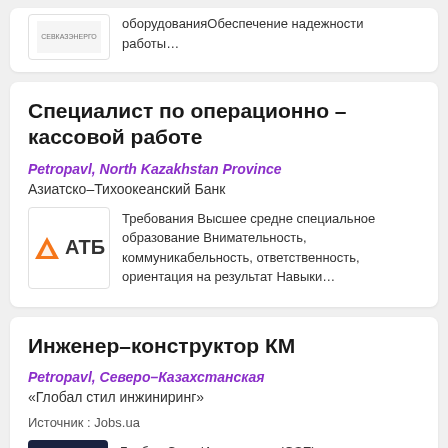[Figure (logo): Partial top card with company logo and truncated description text about обеспечение надежности работы оборудования]
оборудованияОбеспечение надежности работы…
Специалист по операционно –кассовой работе
Petropavl, North Kazakhstan Province
Азиатско–Тихоокеанский Банк
[Figure (logo): ATB bank logo with orange triangle and ATB text]
Требования Высшее средне специальное образование Внимательность, коммуникабельность, ответственность, ориентация на результат Навыки…
Инженер–конструктор КМ
Petropavl, Северо–Казахстанская
«Глобал стил инжиниринг»
Источник : Jobs.ua
[Figure (logo): GSE (Global Style Engineering) dark blue logo with geometric diamond/hexagon icon]
Глобал Стил Инжиниринг. (GSE). международная проектная компания, специализирующая на комплексном проектировании крупных объектов…